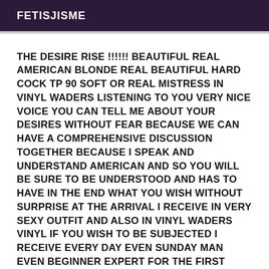FETISJISME
THE DESIRE RISE !!!!!! BEAUTIFUL REAL AMERICAN BLONDE REAL BEAUTIFUL HARD COCK TP 90 SOFT OR REAL MISTRESS IN VINYL WADERS LISTENING TO YOU VERY NICE VOICE YOU CAN TELL ME ABOUT YOUR DESIRES WITHOUT FEAR BECAUSE WE CAN HAVE A COMPREHENSIVE DISCUSSION TOGETHER BECAUSE I SPEAK AND UNDERSTAND AMERICAN AND SO YOU WILL BE SURE TO BE UNDERSTOOD AND HAS TO HAVE IN THE END WHAT YOU WISH WITHOUT SURPRISE AT THE ARRIVAL I RECEIVE IN VERY SEXY OUTFIT AND ALSO IN VINYL WADERS VINYL IF YOU WISH TO BE SUBJECTED I RECEIVE EVERY DAY EVEN SUNDAY MAN EVEN BEGINNER EXPERT FOR THE FIRST EXPERIENCES BUT I DO NOT ANSWER TO THE S M S N Y TO THE NUM MASKS HAS VERY SOON! !N HESITATE TO CALL ME YOU WON'T DISTURB ME IF I AM AVAILABLE I WILL ANSWER YOU BSX SEE YOU